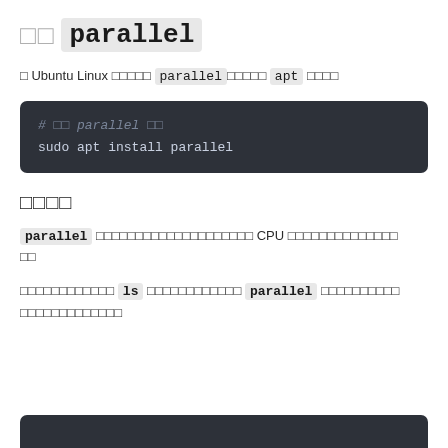□□ parallel
□ Ubuntu Linux □□□□□ parallel□□□□□ apt □□□□
[Figure (screenshot): Dark code block showing: # □□ parallel □□ / sudo apt install parallel]
□□□□
parallel □□□□□□□□□□□□□□□□□□□□□□ CPU □□□□□□□□□□□□□□ □□
□□□□□□□□□□□□ ls □□□□□□□□□□□□□ parallel □□□□□□□□□□ □□□□□□□□□□□□□
[Figure (screenshot): Dark code block (partially visible at bottom)]